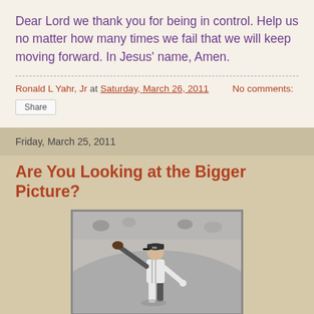Dear Lord we thank you for being in control. Help us no matter how many times we fail that we will keep moving forward. In Jesus’ name, Amen.
Ronald L Yahr, Jr at Saturday, March 26, 2011   No comments:
Share
Friday, March 25, 2011
Are You Looking at the Bigger Picture?
[Figure (photo): Black and white photograph of a baseball pitcher in mid-throw, wearing a New York Yankees uniform, taken during a game.]